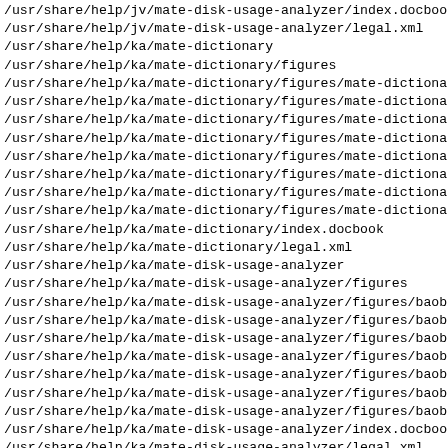/usr/share/help/jv/mate-disk-usage-analyzer/index.docbook
/usr/share/help/jv/mate-disk-usage-analyzer/legal.xml
/usr/share/help/ka/mate-dictionary
/usr/share/help/ka/mate-dictionary/figures
/usr/share/help/ka/mate-dictionary/figures/mate-dictionar
/usr/share/help/ka/mate-dictionary/figures/mate-dictionar
/usr/share/help/ka/mate-dictionary/figures/mate-dictionar
/usr/share/help/ka/mate-dictionary/figures/mate-dictionar
/usr/share/help/ka/mate-dictionary/figures/mate-dictionar
/usr/share/help/ka/mate-dictionary/figures/mate-dictionar
/usr/share/help/ka/mate-dictionary/figures/mate-dictionar
/usr/share/help/ka/mate-dictionary/figures/mate-dictionar
/usr/share/help/ka/mate-dictionary/index.docbook
/usr/share/help/ka/mate-dictionary/legal.xml
/usr/share/help/ka/mate-disk-usage-analyzer
/usr/share/help/ka/mate-disk-usage-analyzer/figures
/usr/share/help/ka/mate-disk-usage-analyzer/figures/baoba
/usr/share/help/ka/mate-disk-usage-analyzer/figures/baoba
/usr/share/help/ka/mate-disk-usage-analyzer/figures/baoba
/usr/share/help/ka/mate-disk-usage-analyzer/figures/baoba
/usr/share/help/ka/mate-disk-usage-analyzer/figures/baoba
/usr/share/help/ka/mate-disk-usage-analyzer/figures/baoba
/usr/share/help/ka/mate-disk-usage-analyzer/figures/baoba
/usr/share/help/ka/mate-disk-usage-analyzer/index.docbook
/usr/share/help/ka/mate-disk-usage-analyzer/legal.xml
/usr/share/help/ka/mate-search-tool
/usr/share/help/ka/mate-search-tool/figures
/usr/share/help/ka/mate-search-tool/figures/mate-search-t
/usr/share/help/ka/mate-search-tool/index.docbook
/usr/share/help/ka/mate-search-tool/legal.xml